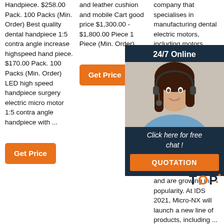Handpiece. $258.00 Pack. 100 Packs (Min. Order) Best quality dental handpiece 1:5 contra angle increase highspeed hand piece. $170.00 Pack. 100 Packs (Min. Order) LED high speed handpiece surgery electric micro motor 1:5 contra angle handpiece with ...
[Figure (other): Orange 'Get Price' button in column 1]
and leather cushion and mobile Cart good price $1,300.00 - $1,800.00 Piece 1 Piece (Min. Order)
[Figure (other): Orange 'Get Price' button in column 2]
company that specialises in manufacturing dental electric motors, including motors for surgery procedures. The electric motors are manufactured using advanced technology patented in Japan and the US. The products are exported worldwide and are growing in popularity. At IDS 2021, Micro-NX will launch a new line of products, including ...
[Figure (photo): 24/7 Online customer service overlay panel with woman wearing headset, 'Click here for free chat!' text, and QUOTATION button]
[Figure (other): TOP badge logo in bottom right corner]